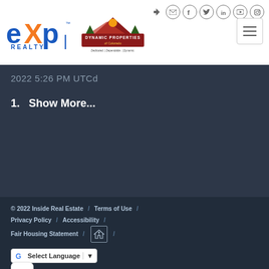[Figure (logo): eXp Realty and Dynamic Properties of Colorado logos with social media icons and hamburger menu]
2022 5:26 PM UTCd
1.  Show More...
© 2022 Inside Real Estate / Terms of Use / Privacy Policy / Accessibility / Fair Housing Statement / [Equal Housing Opportunity logo] / Select Language (Google Translate dropdown) / Chat button